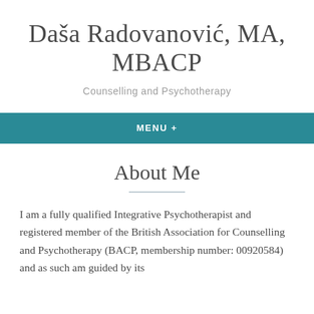Daša Radovanović, MA, MBACP
Counselling and Psychotherapy
MENU +
About Me
I am a fully qualified Integrative Psychotherapist and registered member of the British Association for Counselling and Psychotherapy (BACP, membership number: 00920584) and as such am guided by its